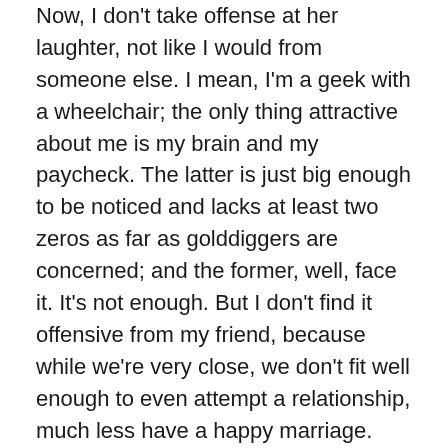Now, I don't take offense at her laughter, not like I would from someone else. I mean, I'm a geek with a wheelchair; the only thing attractive about me is my brain and my paycheck. The latter is just big enough to be noticed and lacks at least two zeros as far as golddiggers are concerned; and the former, well, face it. It's not enough. But I don't find it offensive from my friend, because while we're very close, we don't fit well enough to even attempt a relationship, much less have a happy marriage. She'd have to go to her happy place if I start talking about anything other than where our interests coincide, which are actually in very few areas.
If you know me, you know I can't possibly shut up about my interests. When I get invited to speak at conventions, I quite literally tell the panel coordinator to put me in however many slots he or she wants, because odds are